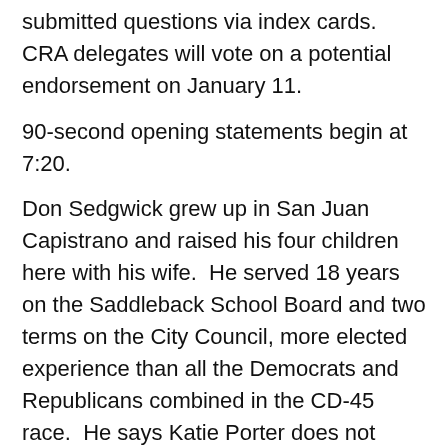submitted questions via index cards.  CRA delegates will vote on a potential endorsement on January 11.
90-second opening statements begin at 7:20.
Don Sedgwick grew up in San Juan Capistrano and raised his four children here with his wife.  He served 18 years on the Saddleback School Board and two terms on the City Council, more elected experience than all the Democrats and Republicans combined in the CD-45 race.  He says Katie Porter does not reflect the values of the district.  He was ASB President, coached his children's youth sports, and is involved in the community.  He says, “the freedoms of our country are at stake in this country… our economy is headed toward socialism, and I will do something to reverse that.”
Greg Raths welcomes everyone to Mission Viejo jokingly